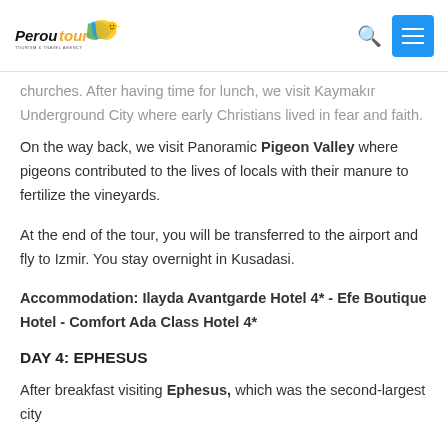Peroutour Tourism & Travel Agency
churches. After having time for lunch, we visit Kaymakır Underground City where early Christians lived in fear and faith.
On the way back, we visit Panoramic Pigeon Valley where pigeons contributed to the lives of locals with their manure to fertilize the vineyards.
At the end of the tour, you will be transferred to the airport and fly to Izmir. You stay overnight in Kusadasi.
Accommodation: Ilayda Avantgarde Hotel 4* - Efe Boutique Hotel - Comfort Ada Class Hotel 4*
DAY 4: EPHESUS
After breakfast visiting Ephesus, which was the second-largest city